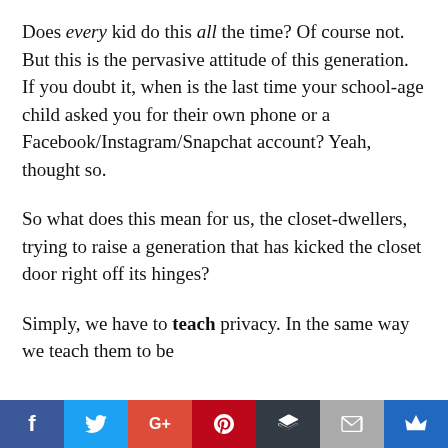Does every kid do this all the time? Of course not. But this is the pervasive attitude of this generation. If you doubt it, when is the last time your school-age child asked you for their own phone or a Facebook/Instagram/Snapchat account? Yeah, thought so.
So what does this mean for us, the closet-dwellers, trying to raise a generation that has kicked the closet door right off its hinges?
Simply, we have to teach privacy. In the same way we teach them to be
Social share bar: Facebook, Twitter, Google+, Pinterest, Buffer, Email, Crown